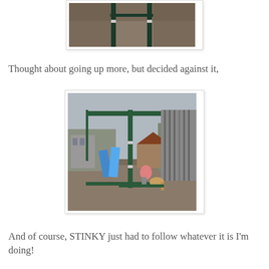[Figure (photo): Partial view of a playground structure from above, showing metal poles and wood chip ground cover]
Thought about going up more, but decided against it,
[Figure (photo): Playground scene showing a child and dog on a climbing structure, with a slide and playhouse visible in the background, surrounded by wood chips and bare trees]
And of course, STINKY just had to follow whatever it is I'm doing!